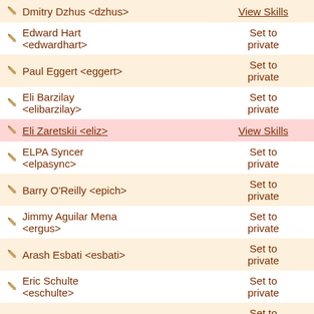| Name | Action |
| --- | --- |
| Dmitry Dzhus <dzhus> | View Skills |
| Edward Hart <edwardhart> | Set to private |
| Paul Eggert <eggert> | Set to private |
| Eli Barzilay <elibarzilay> | Set to private |
| Eli Zaretskii <eliz> | View Skills |
| ELPA Syncer <elpasync> | Set to private |
| Barry O'Reilly <epich> | Set to private |
| Jimmy Aguilar Mena <ergus> | Set to private |
| Arash Esbati <esbati> | Set to private |
| Eric Schulte <eschulte> | Set to private |
| Eric S. Raymond <esr> | Set to private |
| Fabián Ezequiel Gallina <fgallina> | Set to private |